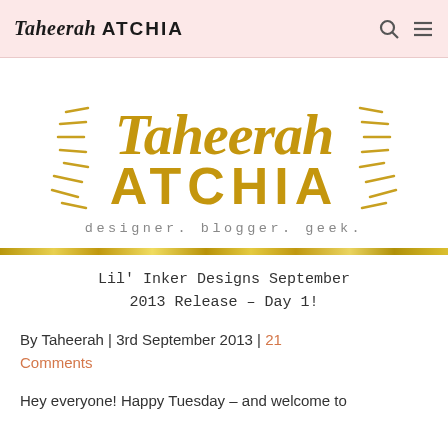Taheerah ATCHIA
[Figure (logo): Taheerah Atchia logo in gold script lettering with decorative radiating lines, subtitle: designer. blogger. geek.]
Lil' Inker Designs September 2013 Release – Day 1!
By Taheerah | 3rd September 2013 | 21 Comments
Hey everyone! Happy Tuesday – and welcome to